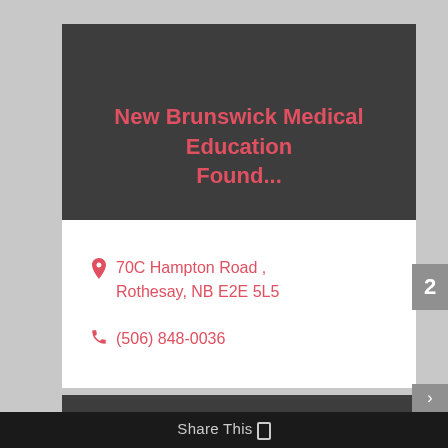New Brunswick Medical Education Found...
70C Hampton Road , Rothesay, NB E2E 5L5
(506) 848-0036
Share This